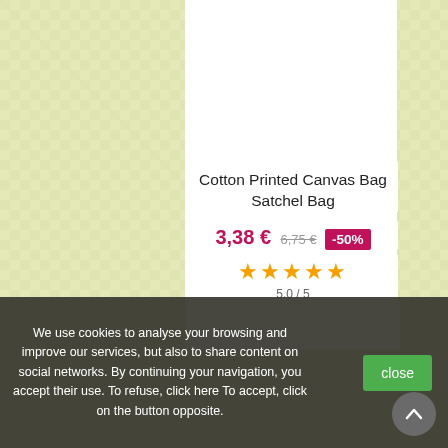[Figure (screenshot): E-commerce product page screenshot showing a Cotton Printed Canvas Bag Satchel Bag with price, discount, stars, a SALE badge, a partial product photo, and a cookie consent overlay.]
Cotton Printed Canvas Bag Satchel Bag
3,38 € 6,75 € -50%
5.0 / 5
SALE!
We use cookies to analyse your browsing and improve our services, but also to share content on social networks. By continuing your navigation, you accept their use. To refuse, click here To accept, click on the button opposite.